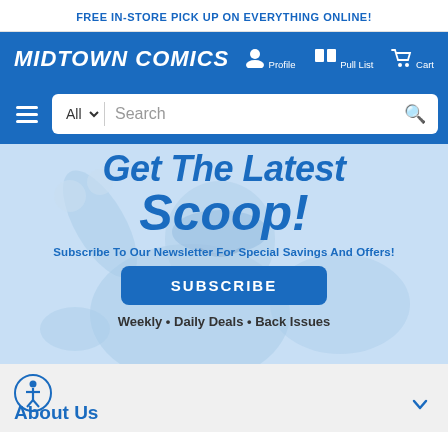FREE IN-STORE PICK UP ON EVERYTHING ONLINE!
MIDTOWN COMICS
Profile  Pull List  Cart
[Figure (screenshot): Search bar with All dropdown and search input]
[Figure (illustration): Midtown Comics superhero mascot illustration in light blue, background for newsletter section]
Get The Latest Scoop!
Subscribe To Our Newsletter For Special Savings And Offers!
SUBSCRIBE
Weekly • Daily Deals • Back Issues
About Us